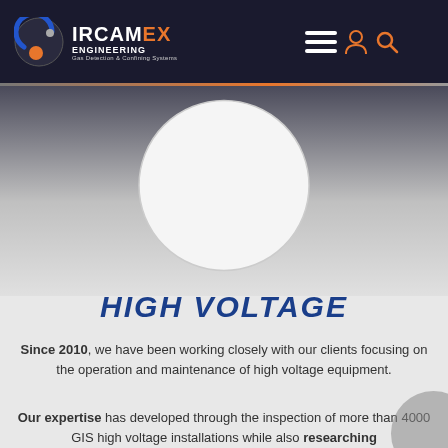[Figure (logo): IRCAMEX Engineering logo with circular icon and text 'Gas Detection & Confining Systems']
[Figure (photo): White/light circle image placeholder on dark-to-light gradient hero background]
HIGH VOLTAGE
Since 2010, we have been working closely with our clients focusing on the operation and maintenance of high voltage equipment.
Our expertise has developed through the inspection of more than 4000 GIS high voltage installations while also researching